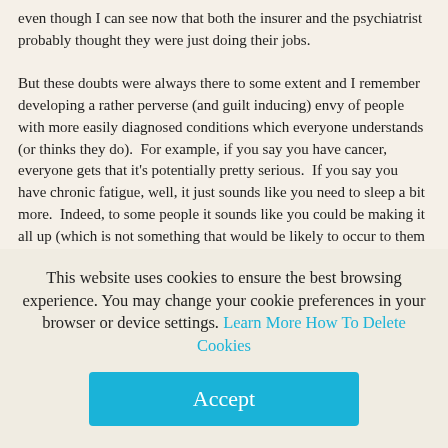even though I can see now that both the insurer and the psychiatrist probably thought they were just doing their jobs.

But these doubts were always there to some extent and I remember developing a rather perverse (and guilt inducing) envy of people with more easily diagnosed conditions which everyone understands (or thinks they do). For example, if you say you have cancer, everyone gets that it's potentially pretty serious. If you say you have chronic fatigue, well, it just sounds like you need to sleep a bit more. Indeed, to some people it sounds like you could be making it all up (which is not something that would be likely to occur to them if you had a cancer diagnosis – whereas the failure of the medical profession to pin down what causes chronic/post-viral fatigue provides ample scope for people to doubt its very existence). And then I would feel bad for envying people with a condition which was far more likely to be life-threatening than mine.
This website uses cookies to ensure the best browsing experience. You may change your cookie preferences in your browser or device settings. Learn More How To Delete Cookies